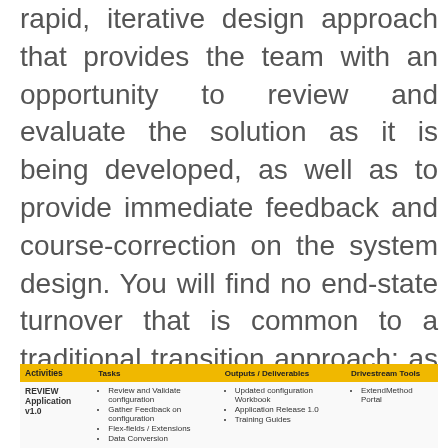rapid, iterative design approach that provides the team with an opportunity to review and evaluate the solution as it is being developed, as well as to provide immediate feedback and course-correction on the system design. You will find no end-state turnover that is common to a traditional transition approach; as described in the tasks and outputs, training and continuous knowledge transfer are built into Drivestream's Launch phase in Application Reviews 1 and 2.
| Activities | Tasks | Outputs / Deliverables | Drivestream Tools |
| --- | --- | --- | --- |
| REVIEW Application v1.0 | • Review and Validate configuration
• Gather Feedback on configuration
• Flex-fields / Extensions
• Data Conversion | • Updated configuration Workbook
• Application Release 1.0
• Training Guides | • ExtendMethod Portal |